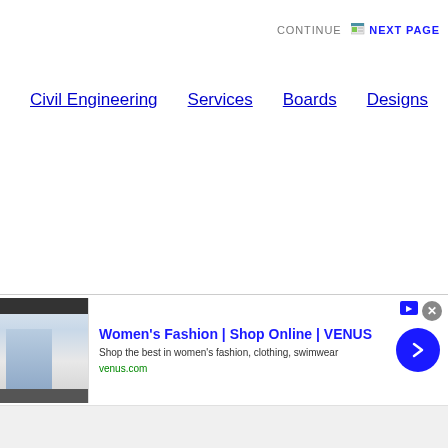CONTINUE NEXT PAGE
Civil Engineering   Services   Boards   Designs   infolinks
[Figure (other): Infolinks advertisement banner with logo and Women's Fashion | Shop Online | VENUS ad]
Women's Fashion | Shop Online | VENUS
Shop the best in women's fashion, clothing, swimwear
venus.com